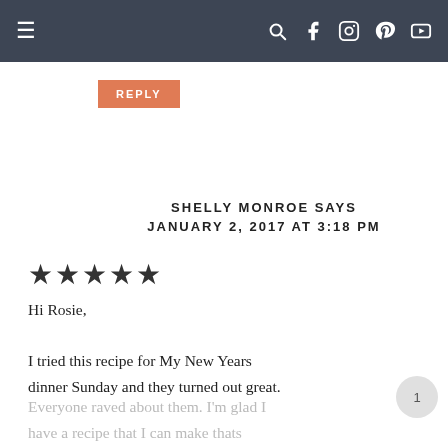≡  🔍 f 📷 𝗽 ▶
REPLY
SHELLY MONROE SAYS
JANUARY 2, 2017 AT 3:18 PM
★★★★★
Hi Rosie,

I tried this recipe for My New Years dinner Sunday and they turned out great.
Everyone raved about them. I'm glad I have a recipe that I can make thats